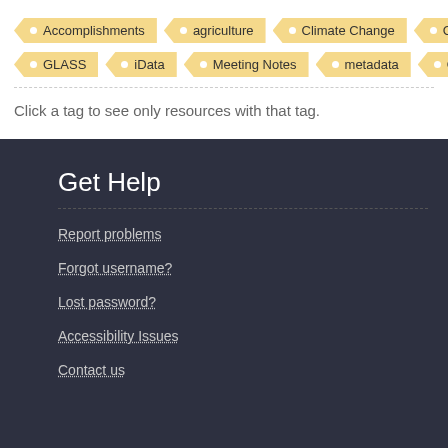Accomplishments, agriculture, Climate Change, Conference Ca, GLASS, iData, Meeting Notes, metadata, Objective 1
Click a tag to see only resources with that tag.
Get Help
Report problems
Forgot username?
Lost password?
Accessibility Issues
Contact us